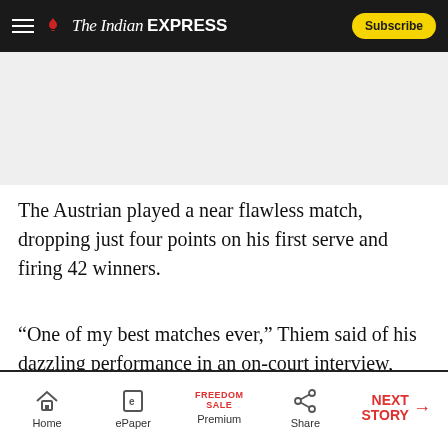The Indian EXPRESS — Subscribe
[Figure (other): Advertisement / image placeholder area (grey background)]
The Austrian played a near flawless match, dropping just four points on his first serve and firing 42 winners.
“One of my best matches ever,” Thiem said of his dazzling performance in an on-court interview, calling his quarter-final berth “a dream coming true”.
Home  ePaper  Premium (FREEDOM SALE)  Share  NEXT STORY